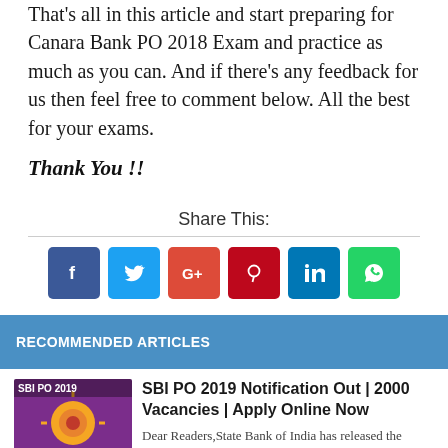That's all in this article and start preparing for Canara Bank PO 2018 Exam and practice as much as you can. And if there's any feedback for us then feel free to comment below. All the best for your exams.
Thank You !!
Share This:
[Figure (infographic): Social share icons: Facebook (blue), Twitter (light blue), Google+ (red-orange), Pinterest (dark red), LinkedIn (blue), WhatsApp (green)]
RECOMMENDED ARTICLES
[Figure (photo): SBI PO 2019 notification article thumbnail with text SBI PO 2019 and NOTIFICATION OUT]
SBI PO 2019 Notification Out | 2000 Vacancies | Apply Online Now
Dear Readers,State Bank of India has released the much-awaited notification for the recruitment of Probationary Officers (POs) for the year 2019. In t